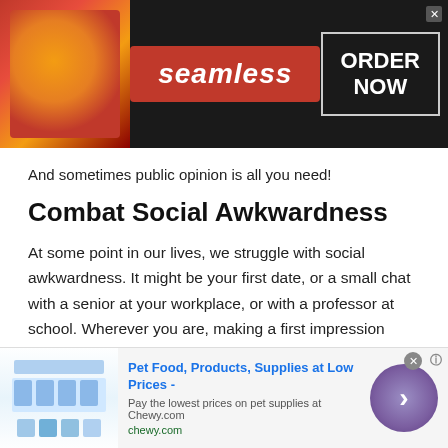[Figure (screenshot): Seamless food delivery advertisement banner with pizza image, Seamless red logo badge, and ORDER NOW button on dark background]
And sometimes public opinion is all you need!
Combat Social Awkwardness
At some point in our lives, we struggle with social awkwardness. It might be your first date, or a small chat with a senior at your workplace, or with a professor at school. Wherever you are, making a first impression matters a lot when it comes to attracting another person. Especially if you are aiming for a romantic relationship.
[Figure (screenshot): Chewy.com advertisement banner with pet supplies images, title 'Pet Food, Products, Supplies at Low Prices -', description text, URL and navigation arrow button]